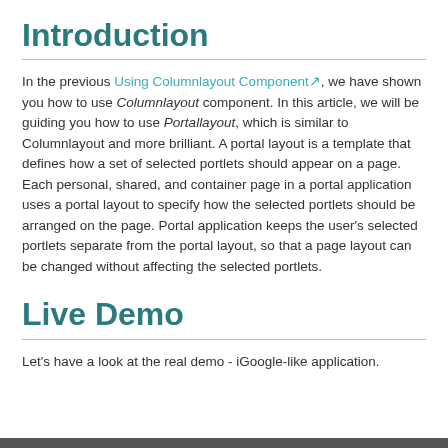Introduction
In the previous Using Columnlayout Component, we have shown you how to use Columnlayout component. In this article, we will be guiding you how to use Portallayout, which is similar to Columnlayout and more brilliant. A portal layout is a template that defines how a set of selected portlets should appear on a page. Each personal, shared, and container page in a portal application uses a portal layout to specify how the selected portlets should be arranged on the page. Portal application keeps the user's selected portlets separate from the portal layout, so that a page layout can be changed without affecting the selected portlets.
Live Demo
Let's have a look at the real demo - iGoogle-like application.